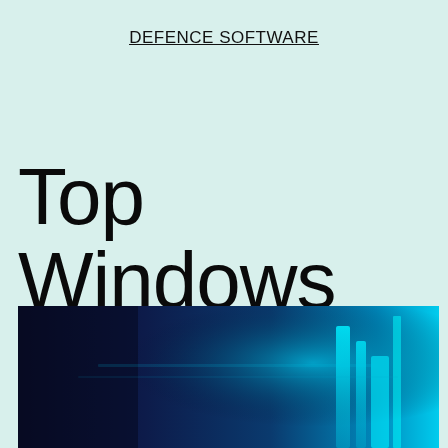DEFENCE SOFTWARE
Top Windows Antivirus
[Figure (photo): Abstract dark blue and cyan glowing digital/tech background image with vertical light bars on the right side, suggesting a cybersecurity or technology theme.]